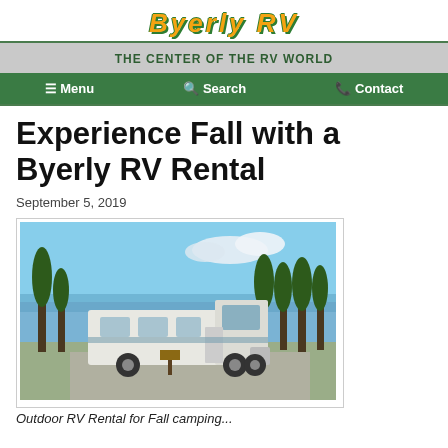Byerly RV — THE CENTER OF THE RV WORLD
Menu  Search  Contact
Experience Fall with a Byerly RV Rental
September 5, 2019
[Figure (photo): A white Class C motorhome RV parked on a paved area surrounded by tall cypress trees and open sky]
Outdoor RV Rental for Fall camping...